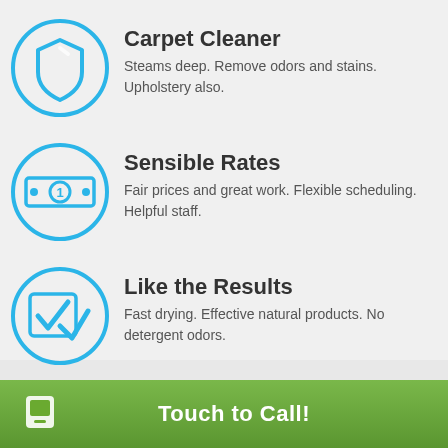Carpet Cleaner — Steams deep. Remove odors and stains. Upholstery also.
Sensible Rates — Fair prices and great work. Flexible scheduling. Helpful staff.
Like the Results — Fast drying. Effective natural products. No detergent odors.
Touch to Call!